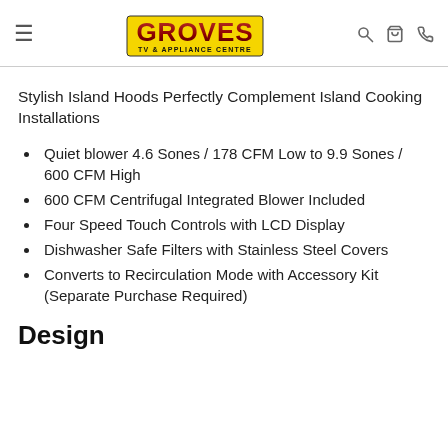Groves TV & Appliance Centre
Stylish Island Hoods Perfectly Complement Island Cooking Installations
Quiet blower 4.6 Sones / 178 CFM Low to 9.9 Sones / 600 CFM High
600 CFM Centrifugal Integrated Blower Included
Four Speed Touch Controls with LCD Display
Dishwasher Safe Filters with Stainless Steel Covers
Converts to Recirculation Mode with Accessory Kit (Separate Purchase Required)
Design